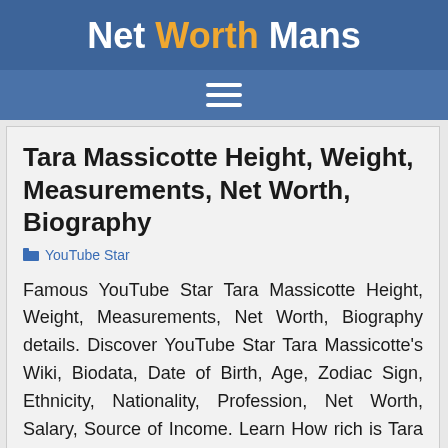Net Worth Mans
[Figure (other): Navigation hamburger menu icon (three horizontal white lines on blue background)]
Tara Massicotte Height, Weight, Measurements, Net Worth, Biography
YouTube Star
Famous YouTube Star Tara Massicotte Height, Weight, Measurements, Net Worth, Biography details. Discover YouTube Star Tara Massicotte's Wiki, Biodata, Date of Birth, Age, Zodiac Sign, Ethnicity, Nationality, Profession, Net Worth, Salary, Source of Income. Learn How rich is Tara Massicotte, and how she earned and spends money? also read her height, weight, body measurements, bra size, shoe size, hair color, eye color, and career updates.
[Figure (photo): Partial photo of Tara Massicotte on orange background with large stylized text overlay]